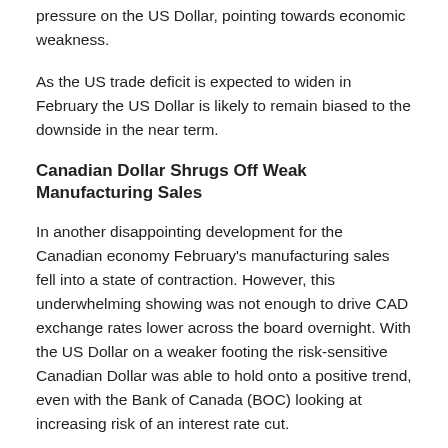pressure on the US Dollar, pointing towards economic weakness.
As the US trade deficit is expected to widen in February the US Dollar is likely to remain biased to the downside in the near term.
Canadian Dollar Shrugs Off Weak Manufacturing Sales
In another disappointing development for the Canadian economy February's manufacturing sales fell into a state of contraction. However, this underwhelming showing was not enough to drive CAD exchange rates lower across the board overnight. With the US Dollar on a weaker footing the risk-sensitive Canadian Dollar was able to hold onto a positive trend, even with the Bank of Canada (BOC) looking at increasing risk of an interest rate cut.
A solid acceleration in March's consumer price index data could offer the Canadian Dollar a stronger rallying point.